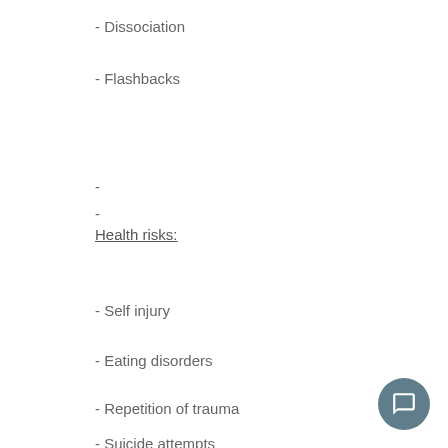- Dissociation
- Flashbacks
-
-
Health risks:
- Self injury
- Eating disorders
- Repetition of trauma
- Suicide attempts
[Figure (other): Chat/messaging button icon in bottom right corner]